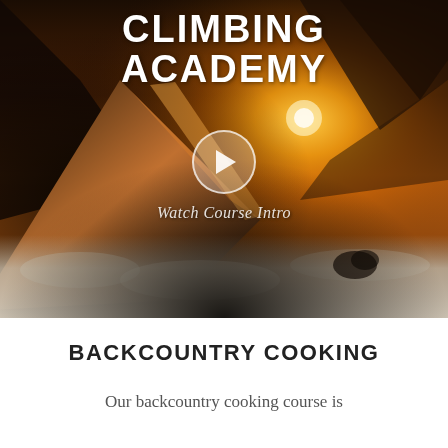[Figure (screenshot): Hero image of a tent on a snowy mountain at sunset/sunrise with golden light, featuring a play button overlay and 'Watch Course Intro' label. Above the image is text reading 'CLIMBING ACADEMY' in bold white letters.]
BACKCOUNTRY COOKING
Our backcountry cooking course is